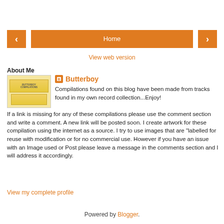[Figure (illustration): Navigation bar with orange left arrow button, orange Home button in center, orange right arrow button]
View web version
About Me
[Figure (photo): Image of butter blocks stacked with text BUTTERBOY COMPILATIONS]
Butterboy
Compilations found on this blog have been made from tracks found in my own record collection...Enjoy! If a link is missing for any of these compilations please use the comment section and write a comment. A new link will be posted soon. I create artwork for these compilation using the internet as a source. I try to use images that are "labelled for reuse with modification or for no commercial use. However if you have an issue with an Image used or Post please leave a message in the comments section and I will address it accordingly.
View my complete profile
Powered by Blogger.